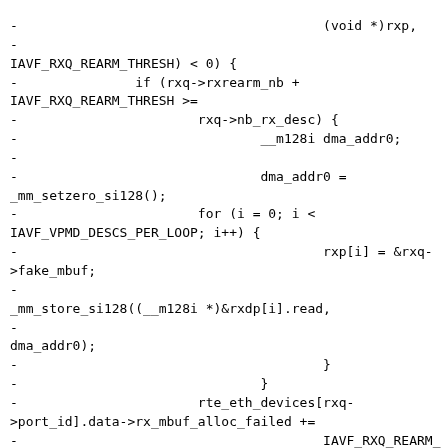-                                       (void *)rxp,
-
IAVF_RXQ_REARM_THRESH) < 0) {
-               if (rxq->rxrearm_nb +
IAVF_RXQ_REARM_THRESH >=
-                       rxq->nb_rx_desc) {
-                               __m128i dma_addr0;
-
-                               dma_addr0 =
_mm_setzero_si128();
-                       for (i = 0; i <
IAVF_VPMD_DESCS_PER_LOOP; i++) {
-                                       rxp[i] = &rxq-
>fake_mbuf;
-
_mm_store_si128((__m128i *)&rxdp[i].read,
-
dma_addr0);
-                                       }
-                               }
-                       rte_eth_devices[rxq-
>port_id].data->rx_mbuf_alloc_failed +=
-                                       IAVF_RXQ_REARM_THRESH;
-                       return;
-               }
-
-#ifndef RTE_LIBRTE_IAVF_16BYTE_RX_DESC
-        struct rte_mbuf *mb0, *mb1;
-        __m128i dma_addr0, dma_addr1;
-        m128i hdr_room =